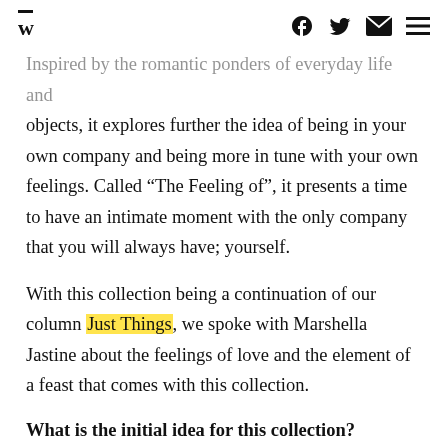W [logo] | Facebook | Twitter | Email | Menu
Inspired by the romantic ponders of everyday life and objects, it explores further the idea of being in your own company and being more in tune with your own feelings. Called “The Feeling of”, it presents a time to have an intimate moment with the only company that you will always have; yourself.
With this collection being a continuation of our column Just Things, we spoke with Marshella Jastine about the feelings of love and the element of a feast that comes with this collection.
What is the initial idea for this collection?
The initial ideas came very spontaneously. We saw all